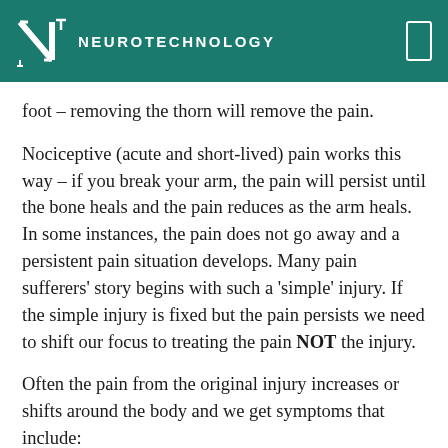NEUROTECHNOLOGY
foot – removing the thorn will remove the pain.
Nociceptive (acute and short-lived) pain works this way – if you break your arm, the pain will persist until the bone heals and the pain reduces as the arm heals. In some instances, the pain does not go away and a persistent pain situation develops. Many pain sufferers' story begins with such a 'simple' injury. If the simple injury is fixed but the pain persists we need to shift our focus to treating the pain NOT the injury.
Often the pain from the original injury increases or shifts around the body and we get symptoms that include: